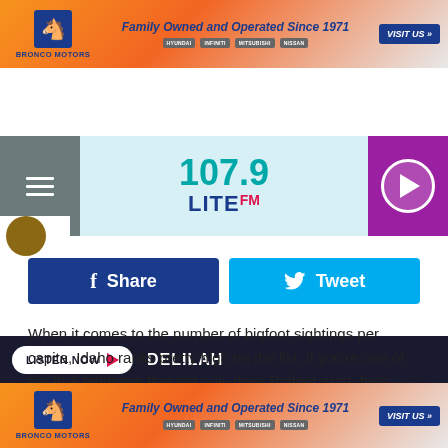[Figure (screenshot): Bronco Motors advertisement banner: orange/gradient background, horse logo, 'Family Owned and Operated Since 1971', car brand logos, blue VISIT US button]
[Figure (logo): 107.9 LITE FM radio station logo in teal/blue/red on light blue background, with hamburger menu on left and purple play button on right]
[Figure (screenshot): Navigation bar with LISTEN NOW button and DELILAH text on dark background]
[Figure (screenshot): Facebook Share and Twitter Tweet social sharing buttons]
When it comes to the number of bigfoot sightings per capita, Idaho ranks pretty high on the list. If you're one of the true believers that not only does Bigfoot exist, he's likely lurking around the Idaho wilderness, this is an event you'll want to pencil in on your calendar.
After being postponed twice due to the pandemic, the
[Figure (screenshot): Bronco Motors advertisement banner at bottom: orange/gradient background, horse logo, 'Family Owned and Operated Since 1971', car brand logos, blue VISIT US button]